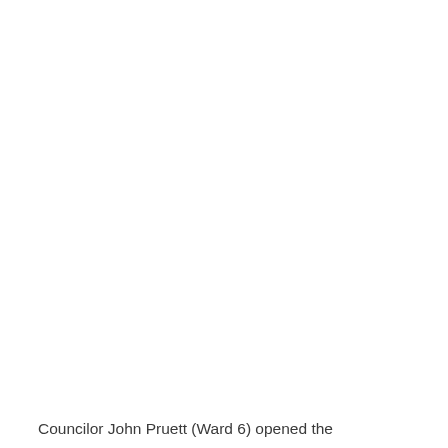Councilor John Pruett (Ward 6) opened the